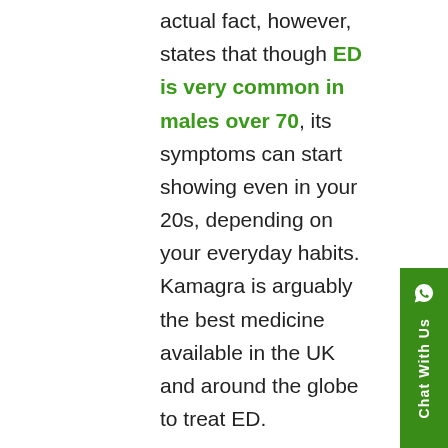actual fact, however, states that though ED is very common in males over 70, its symptoms can start showing even in your 20s, depending on your everyday habits. Kamagra is arguably the best medicine available in the UK and around the globe to treat ED.
Being the generic version of the branded ED medicine Viagra, Kamagra has reached several males across the globe with ED. Its affordability combined with its effectiveness can help any male suffering from the inability to get or sustain an erection.